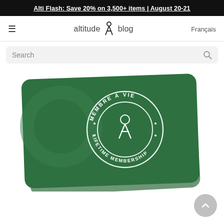Alti Flash: Save 20% on 3,500+ items | August 20-21
[Figure (logo): Altitude blog logo with hamburger menu and Français language link]
Search
[Figure (photo): Green Altitude lifetime membership card (Membre à vie / Lifetime Membership) with circular logo badge on a green card, slightly tilted, with a second card behind it.]